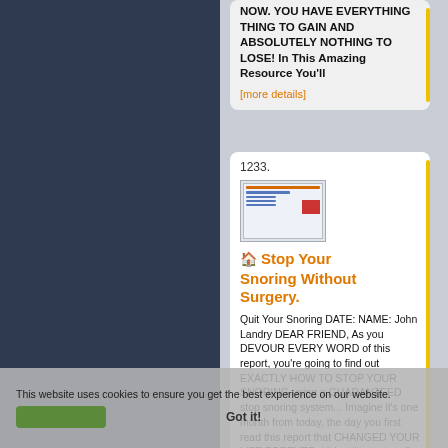NOW. YOU HAVE EVERYTHING THING TO GAIN AND ABSOLUTELY NOTHING TO LOSE! In This Amazing Resource You'll
[more details]
1233.
[Figure (illustration): Thumbnail image of a document/report cover]
Stop Your Snoring Without Surgery.
Quit Your Snoring DATE: NAME: John Landry DEAR FRIEND, As you DEVOUR EVERY WORD of this report, you're going to find out EXACTLY HOW TO STOP YOUR SNORING using a GUARANTEED stop snoring system... Imagine it's one month from today, the day you first read this report that CHANGED YOUR LIFE FOREVER. Using the system I'm about to reveal, you could
This website uses cookies to ensure you get the best experience on our website.
Got it!